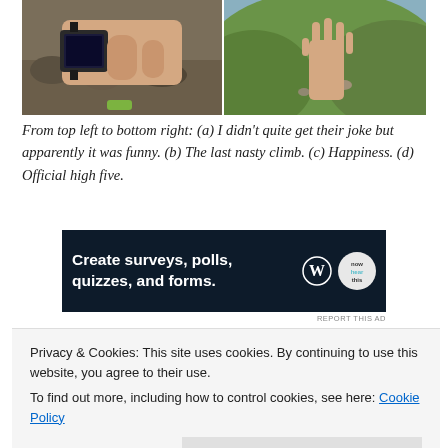[Figure (photo): Two side-by-side outdoor photos. Left: a person's arm with a GPS watch, rocky mountainous terrain. Right: a person's hand raised in a high five gesture against a green hillside.]
From top left to bottom right: (a) I didn't quite get their joke but apparently it was funny. (b) The last nasty climb. (c) Happiness. (d) Official high five.
[Figure (screenshot): Advertisement banner with dark navy background. Text: 'Create surveys, polls, quizzes, and forms.' WordPress logo and poll-related badge icon on the right.]
I left the climb behind and reached a mostly flat trail. I just made sure
Privacy & Cookies: This site uses cookies. By continuing to use this website, you agree to their use.
To find out more, including how to control cookies, see here: Cookie Policy
just done it. I stopped and waited for Nadja. While approaching she